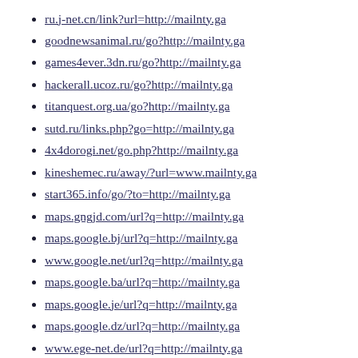ru.j-net.cn/link?url=http://mailnty.ga
goodnewsanimal.ru/go?http://mailnty.ga
games4ever.3dn.ru/go?http://mailnty.ga
hackerall.ucoz.ru/go?http://mailnty.ga
titanquest.org.ua/go?http://mailnty.ga
sutd.ru/links.php?go=http://mailnty.ga
4x4dorogi.net/go.php?http://mailnty.ga
kineshemec.ru/away/?url=www.mailnty.ga
start365.info/go/?to=http://mailnty.ga
maps.gngjd.com/url?q=http://mailnty.ga
maps.google.bj/url?q=http://mailnty.ga
www.google.net/url?q=http://mailnty.ga
maps.google.ba/url?q=http://mailnty.ga
maps.google.je/url?q=http://mailnty.ga
maps.google.dz/url?q=http://mailnty.ga
www.ege-net.de/url?q=http://mailnty.ga
www.google.com/url?q=http://mailnty.ga
maps.google.tg/url?q=http://mailnty.ga
maps.google.mn/url?q=http://mailnty.ga